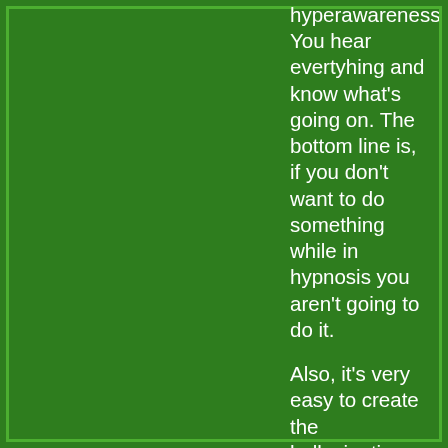hyperawareness. You hear evertyhing and know what's going on. The bottom line is, if you don't want to do something while in hypnosis you aren't going to do it.
Also, it's very easy to create the hallucinations you describe in others if they are in a deep state of hypnosis. With the correct suggestions I've had people describe a show to me on a TV that was turned off, talk to an excercise ball that they thought was a little girl, etc. This only scratches the surface of the potential of hypnosis, however, as it can also be used as a therapy to resolve your wife's presentation fears and a number of other "non-medical" problems using various techniques. The techniques are very straightforward once you know how to do them.
I recommend live training if you really want to learn more. I took my training training through the Omni Hypnosis Training Center in Deland, Fl from Gerald Kine and Bob Brenner. They are both superb trainers. While their focus is primarily hypnotherapy they also have some courses that...